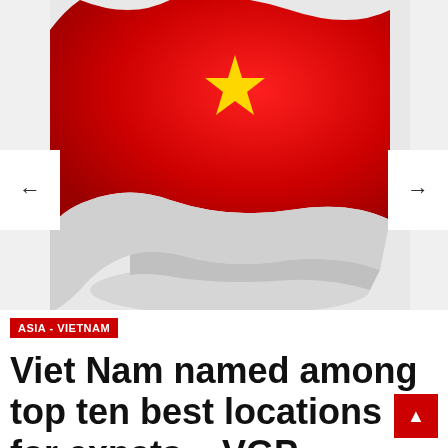[Figure (photo): A waving Vietnamese flag with red background and yellow star, shown from below at an angle, displayed in a slideshow carousel with left and right navigation arrows.]
ASIA - VIETNAM
Viet Nam named among top ten best locations for expats – VGP